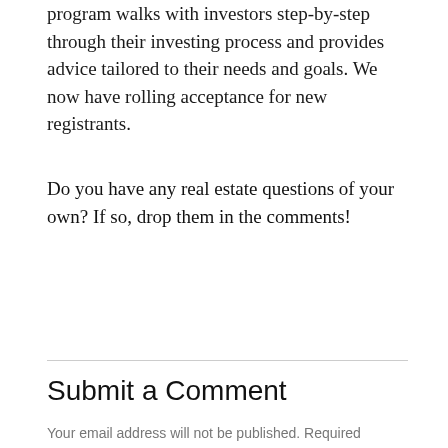program walks with investors step-by-step through their investing process and provides advice tailored to their needs and goals. We now have rolling acceptance for new registrants.
Do you have any real estate questions of your own? If so, drop them in the comments!
Submit a Comment
Your email address will not be published. Required